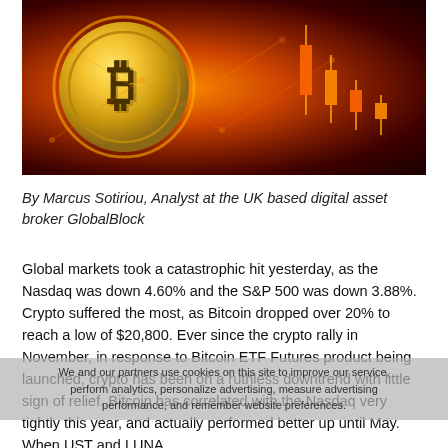[Figure (photo): Bitcoin gold coin with flame/fire effect and orange glow, with candlestick chart in the background on dark red background]
By Marcus Sotiriou, Analyst at the UK based digital asset broker GlobalBlock
Global markets took a catastrophic hit yesterday, as the Nasdaq was down 4.60% and the S&P 500 was down 3.88%. Crypto suffered the most, as Bitcoin dropped over 20% to reach a low of $20,800. Ever since the crypto rally in November, in response to Bitcoin ETF Futures product being launched, crypto has been on a ruthless downtrend with little sign of relief. Bitcoin has correlated with the Nasdaq very tightly this year, and actually performed better up until May. When UST and LUNA
We and our partners use cookies on this site to improve our service, perform analytics, personalize advertising, measure advertising performance, and remember website preferences.